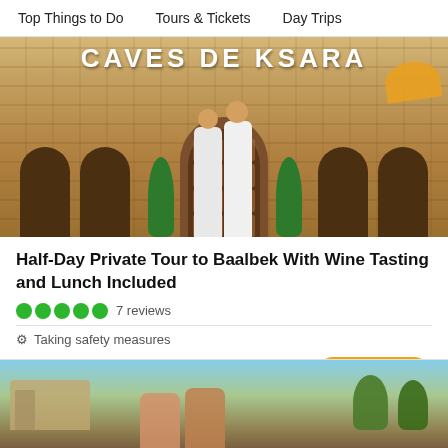Top Things to Do   Tours & Tickets   Day Trips
[Figure (photo): Two people standing in front of Caves de Ksara winery entrance, a stone building with arched windows and wooden door, flanked by topiaries]
Half-Day Private Tour to Baalbek With Wine Tasting and Lunch Included
●●●●● 7 reviews
🛡 Taking safety measures
from US$125.00
[Figure (photo): Scenic outdoor photo showing ruins and landscape, with people in foreground]